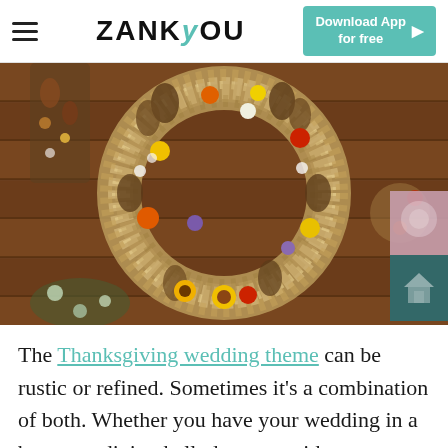ZANKYOU — Download App for free
[Figure (photo): A decorative autumn/fall wreath made of dried wheat, grasses, pine cones, and colorful flowers (sunflowers, orange, red, yellow, purple) hanging against a wooden plank wall background.]
The Thanksgiving wedding theme can be rustic or refined. Sometimes it's a combination of both. Whether you have your wedding in a barn or a dining hall, decorate with warm colors and use